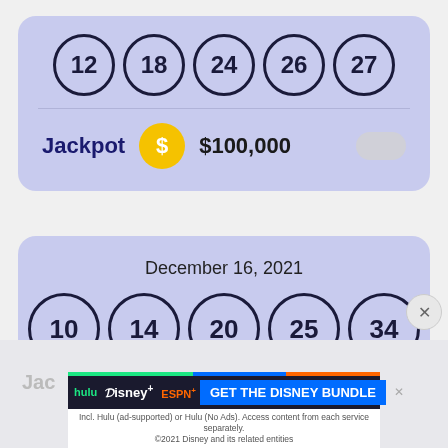[Figure (other): Lottery card showing 5 balls with numbers 12, 18, 24, 26, 27 and Jackpot $100,000 with toggle]
[Figure (other): Lottery card for December 16, 2021 showing 5 balls with numbers 10, 14, 20, 25, 34]
[Figure (other): Disney Bundle advertisement banner: hulu, Disney+, ESPN+, GET THE DISNEY BUNDLE. Incl. Hulu (ad-supported) or Hulu (No Ads). Access content from each service separately. ©2021 Disney and its related entities]